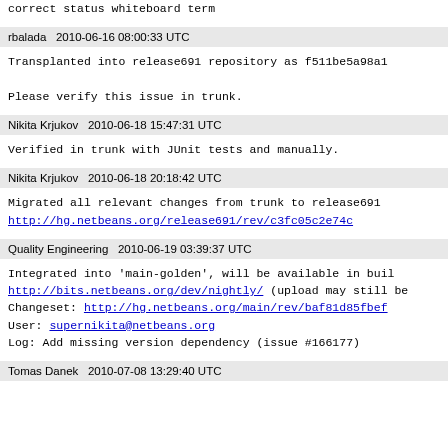correct status whiteboard term
rbalada   2010-06-16 08:00:33 UTC
Transplanted into release691 repository as f511be5a98a1

Please verify this issue in trunk.
Nikita Krjukov   2010-06-18 15:47:31 UTC
Verified in trunk with JUnit tests and manually.
Nikita Krjukov   2010-06-18 20:18:42 UTC
Migrated all relevant changes from trunk to release691
http://hg.netbeans.org/release691/rev/c3fc05c2e74c
Quality Engineering   2010-06-19 03:39:37 UTC
Integrated into 'main-golden', will be available in buil
http://bits.netbeans.org/dev/nightly/ (upload may still be
Changeset: http://hg.netbeans.org/main/rev/baf81d85fbef
User: supernikita@netbeans.org
Log: Add missing version dependency (issue #166177)
Tomas Danek   2010-07-08 13:29:40 UTC